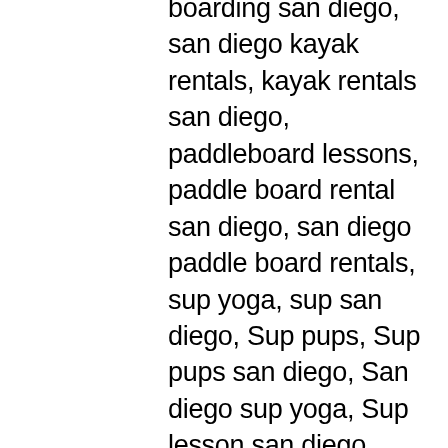boarding san diego, san diego kayak rentals, kayak rentals san diego, paddleboard lessons, paddle board rental san diego, san diego paddle board rentals, sup yoga, sup san diego, Sup pups, Sup pups san diego, San diego sup yoga, Sup lesson san diego, Where to paddleboard with your dog , san diego paddleboard lessons, Sup rental san diego, La jolla cove paddleboarding, stand up paddle board lessons san diego, point loma paddleboard rentals, liberty station sup rentals, Sup rentals near me, sup rentals, sweetwater sup rentals, sup classes, sup classes near me, best sup classes in san diego, sup rentals in san diego, where to find sup rentals in san